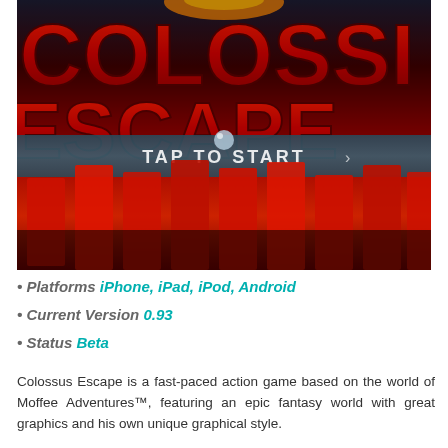[Figure (screenshot): Colossus Escape game screenshot showing large red 3D letters spelling COLOSSI and ESCAPE on a dark background, with a 'TAP TO START' prompt in the center]
• Platforms iPhone, iPad, iPod, Android
• Current Version 0.93
• Status Beta
Colossus Escape is a fast-paced action game based on the world of Moffee Adventures™, featuring an epic fantasy world with great graphics and his own unique graphical style.